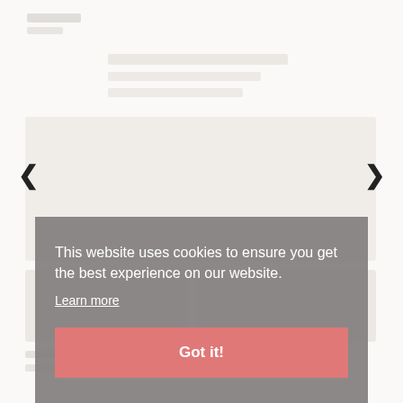[Figure (screenshot): Faded/blurred website screenshot showing a carousel or content page with navigation arrows on left and right sides]
This website uses cookies to ensure you get the best experience on our website.
Learn more
Got it!